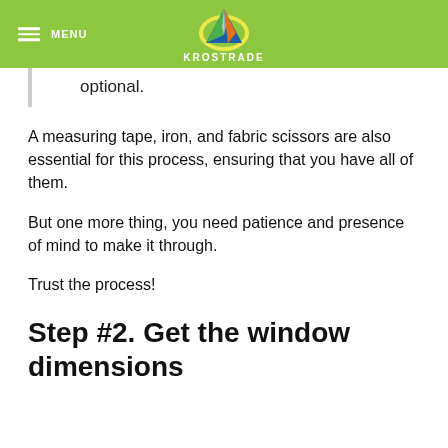MENU | KROSTRADE
optional.
A measuring tape, iron, and fabric scissors are also essential for this process, ensuring that you have all of them.
But one more thing, you need patience and presence of mind to make it through.
Trust the process!
Step #2. Get the window dimensions